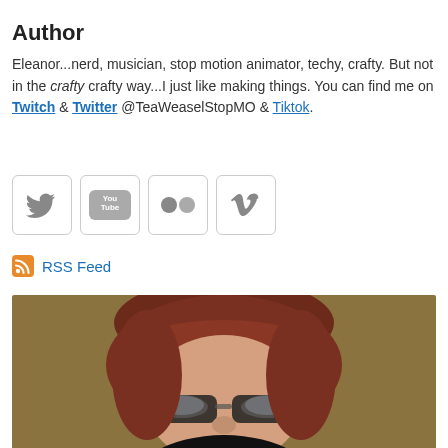Author
Eleanor...nerd, musician, stop motion animator, techy, crafty. But not in the crafty crafty way...I just like making things. You can find me on Twitch & Twitter @TeaWeaselStopMO & Tiktok.
[Figure (illustration): Social media icon buttons: Twitter bird, YouTube, Flickr dots, Vimeo V]
[Figure (illustration): RSS feed icon]
RSS Feed
[Figure (photo): Photo of a person with red/auburn hair and glasses, looking at the camera, with a brown/olive background]